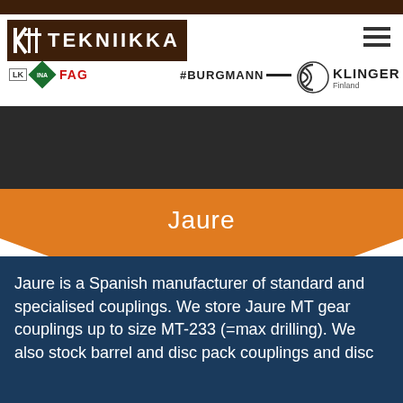KTT TEKNIIKKA
[Figure (logo): KTT Tekniikka logo with dark brown background, white KTT icon and TEKNIIKKA text]
[Figure (logo): Brand logos strip: LUK, INA, FAG, BURGMANN, KLINGER Finland]
[Figure (other): Hamburger menu icon top right]
Jaure
Jaure is a Spanish manufacturer of standard and specialised couplings. We store Jaure MT gear couplings up to size MT-233 (=max drilling). We also stock barrel and disc pack couplings and disc